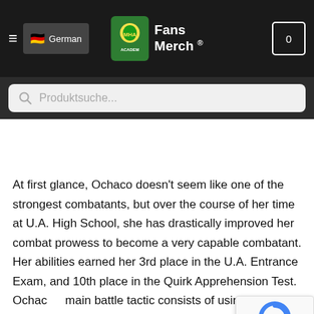German | Fans Merch ® | Cart (0)
Produktsuche...
At first glance, Ochaco doesn't seem like one of the strongest combatants, but over the course of her time at U.A. High School, she has drastically improved her combat prowess to become a very capable combatant. Her abilities earned her 3rd place in the U.A. Entrance Exam, and 10th place in the Quirk Apprehension Test. Ochaco's main battle tactic consists of using her proficient Quirk handling to directly affect her opponents by getting close